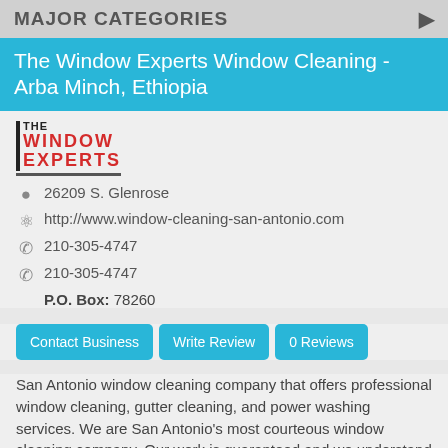MAJOR CATEGORIES
The Window Experts Window Cleaning - Arba Minch, Ethiopia
[Figure (logo): The Window Experts logo with red text and black border]
26209 S. Glenrose
http://www.window-cleaning-san-antonio.com
210-305-4747
210-305-4747
P.O. Box: 78260
Contact Business   Write Review   0 Reviews
San Antonio window cleaning company that offers professional window cleaning, gutter cleaning, and power washing services. We are San Antonio's most courteous window cleaning company. Our work is guaranteed and we understand the meaning of quality.